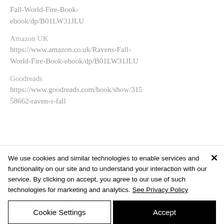Fall-World-Fire-Book-ebook/dp/B01LW31JLU
Amazon UK
https://www.amazon.co.uk/Ravens-Fall-World-Fire-Book-ebook/dp/B01LW31JLU
Goodreads
https://www.goodreads.com/book/show/31558662-raven-s-fall
We use cookies and similar technologies to enable services and functionality on our site and to understand your interaction with our service. By clicking on accept, you agree to our use of such technologies for marketing and analytics. See Privacy Policy
Cookie Settings
Accept